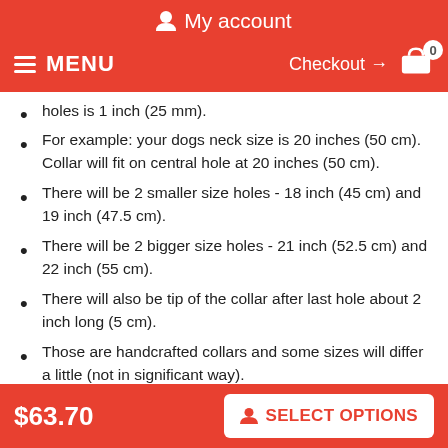My account
MENU   Checkout → 0
holes is 1 inch (25 mm).
For example: your dogs neck size is 20 inches (50 cm). Collar will fit on central hole at 20 inches (50 cm).
There will be 2 smaller size holes - 18 inch (45 cm) and 19 inch (47.5 cm).
There will be 2 bigger size holes - 21 inch (52.5 cm) and 22 inch (55 cm).
There will also be tip of the collar after last hole about 2 inch long (5 cm).
Those are handcrafted collars and some sizes will differ a little (not in significant way).
2 ply leather collars and padded leather collars are 1 inch bigger to make sure that it will fit your dog.
$63.70   SELECT OPTIONS